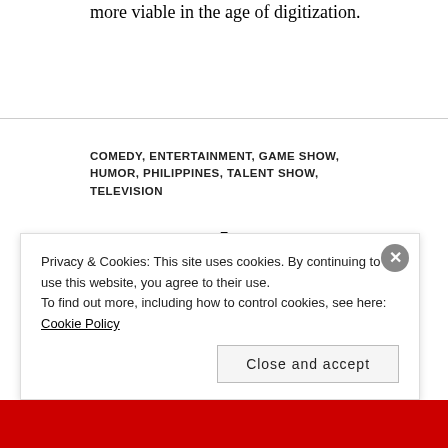more viable in the age of digitization.
COMEDY, ENTERTAINMENT, GAME SHOW, HUMOR, PHILIPPINES, TALENT SHOW, TELEVISION
Hay, Bahay! Ends, All-Star Videoke to Premiere This
Privacy & Cookies: This site uses cookies. By continuing to use this website, you agree to their use. To find out more, including how to control cookies, see here: Cookie Policy
Close and accept